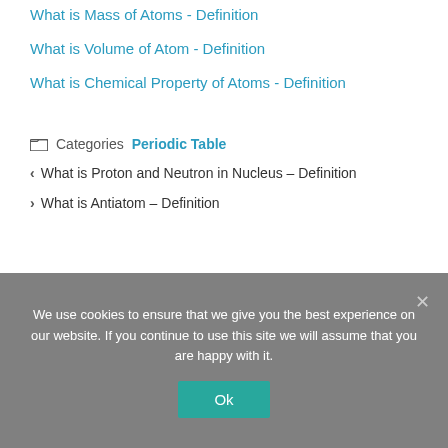What is Mass of Atoms - Definition
What is Volume of Atom - Definition
What is Chemical Property of Atoms - Definition
Periodic Table
< What is Proton and Neutron in Nucleus – Definition
> What is Antiatom – Definition
We use cookies to ensure that we give you the best experience on our website. If you continue to use this site we will assume that you are happy with it.